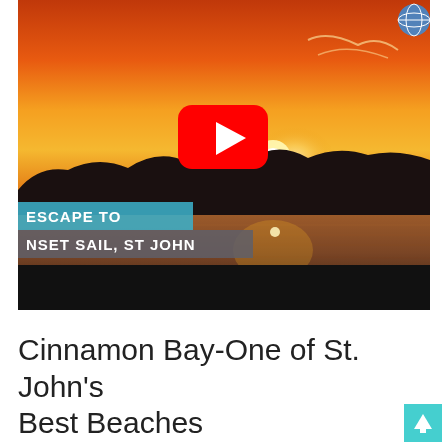[Figure (screenshot): YouTube video thumbnail showing a sunset over water with silhouetted hills, orange and gold sky. A red YouTube play button is centered. Text overlays read 'ESCAPE TO' in cyan/teal and 'NSET SAIL, ST JOHN' in gray. A globe logo icon appears in the top right corner.]
Cinnamon Bay-One of St. John's Best Beaches